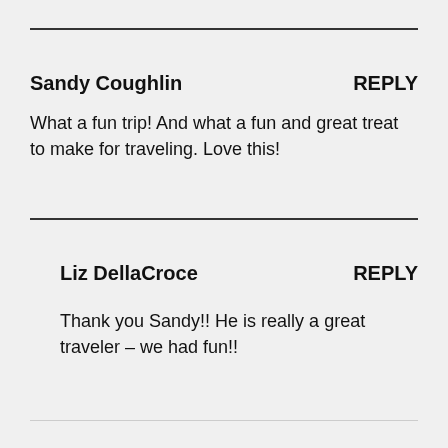Sandy Coughlin — REPLY
What a fun trip! And what a fun and great treat to make for traveling. Love this!
Liz DellaCroce — REPLY
Thank you Sandy!! He is really a great traveler – we had fun!!